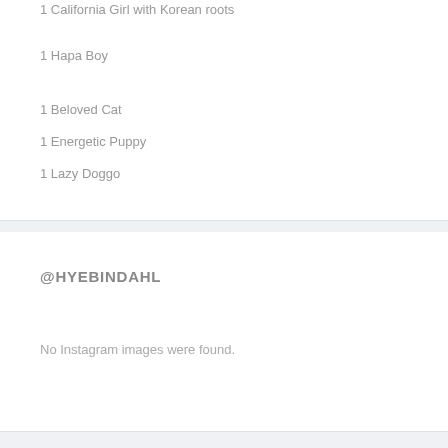1 California Girl with Korean roots
1 Hapa Boy
1 Beloved Cat
1 Energetic Puppy
1 Lazy Doggo
@HYEBINDAHL
No Instagram images were found.